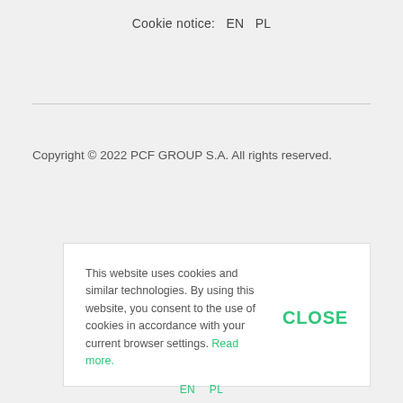Cookie notice:   EN   PL
Copyright © 2022 PCF GROUP S.A. All rights reserved.
This website uses cookies and similar technologies. By using this website, you consent to the use of cookies in accordance with your current browser settings. Read more.
EN   PL